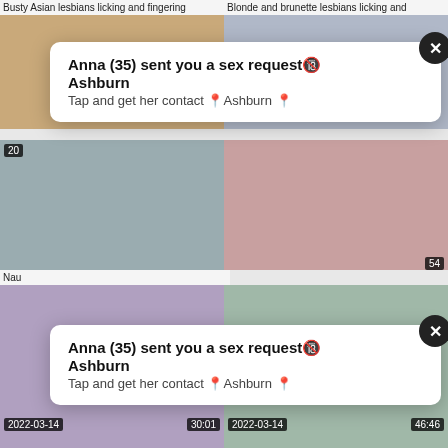Busty Asian lesbians licking and fingering
Blonde and brunette lesbians licking and
[Figure (screenshot): Popup notification overlay on adult video grid: 'Anna (35) sent you a sex request Ashburn. Tap and get her contact Ashburn' with close button, appearing twice over thumbnail grid.]
Nau...
54
Pale blonde and tanned brunette
Real amateur teen college girls lezzing
2022-03-14
30:01
2022-03-14
46:46